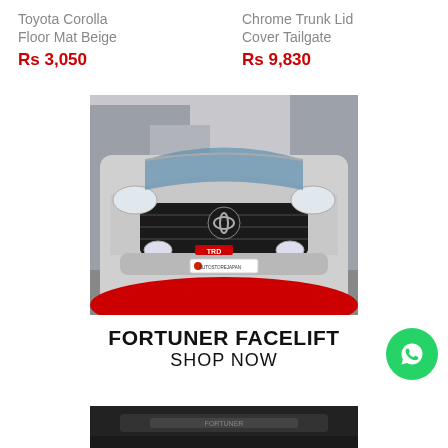Toyota Corolla Floor Mat Beige
Rs 3,050
Chrome Trunk Lid Cover Tailgate
Rs 9,830
[Figure (photo): Front view of a silver Toyota Fortuner Facelift SUV with TRD accessories and branded dealer plate]
FORTUNER FACELIFT
SHOP NOW
[Figure (photo): Partial bottom view of another vehicle, dark colored, cut off at bottom of page]
[Figure (logo): WhatsApp green circle button icon]